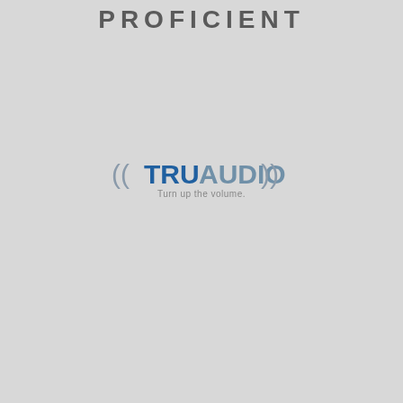PROFICIENT
[Figure (logo): TruAudio logo with text '((TRUAUDIO))' in blue and gray, and tagline 'Turn up the volume.' below in gray]